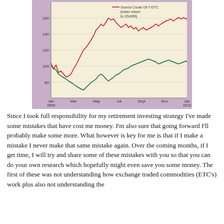[Figure (continuous-plot): Line chart showing two lines from Jan 2009 to Jan 2010. A red line (Source Crude Oil T-ETC, index return to 15/4/09) starts around 105, drops to ~80, rises sharply to ~160 by Apr, then fluctuates between ~130-170 and ends near ~170. A dark green/black line starts around 100, drops to ~60, then rises to ~105 by Jan 2010. Y-axis runs from 60 to 160+, x-axis shows Jan 2009, Mar, May, Jul, Sept, Nov, Jan 2010.]
Since I took full responsibility for my retirement investing strategy I've made some mistakes that have cost me money. I'm also sure that going forward I'll probably make some more. What however is key for me is that if I make a mistake I never make that same mistake again. Over the coming months, if I get time, I will try and share some of these mistakes with you so that you can do your own research which hopefully might even save you some money. The first of these was not understanding how exchange traded commodities (ETC's) work plus also not understanding the